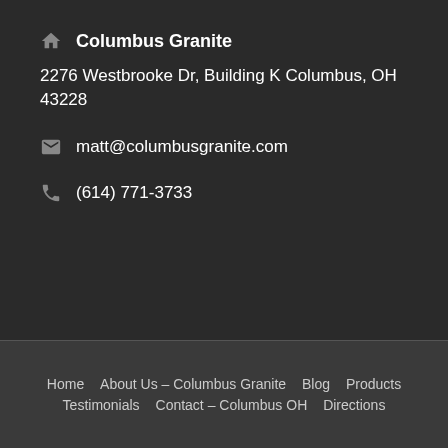Columbus Granite
2276 Westbrooke Dr, Building K Columbus, OH 43228
matt@columbusgranite.com
(614) 771-3733
Home  About Us – Columbus Granite  Blog  Products  Testimonials  Contact – Columbus OH  Directions